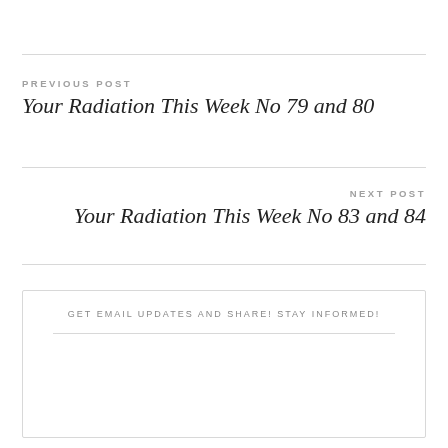PREVIOUS POST
Your Radiation This Week No 79 and 80
NEXT POST
Your Radiation This Week No 83 and 84
GET EMAIL UPDATES AND SHARE! STAY INFORMED!